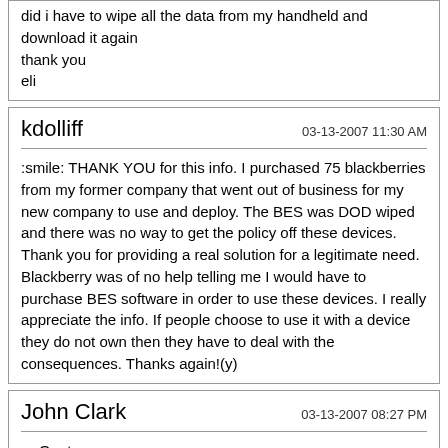did i have to wipe all the data from my handheld and download it again
thank you
eli
kdolliff
03-13-2007 11:30 AM
:smile: THANK YOU for this info. I purchased 75 blackberries from my former company that went out of business for my new company to use and deploy. The BES was DOD wiped and there was no way to get the policy off these devices. Thank you for providing a real solution for a legitimate need. Blackberry was of no help telling me I would have to purchase BES software in order to use these devices. I really appreciate the info. If people choose to use it with a device they do not own then they have to deal with the consequences. Thanks again!(y)
John Clark
03-13-2007 08:27 PM
Quote:
Originally Posted by ohad_129
i folow every thing you write and i cant still disable the firewall did i have to wipe all the data from my handheld and download it again
thank you
eli